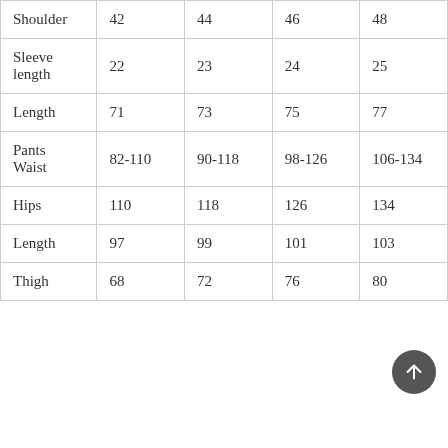| Shoulder | 42 | 44 | 46 | 48 |
| Sleeve length | 22 | 23 | 24 | 25 |
| Length | 71 | 73 | 75 | 77 |
| Pants Waist | 82-110 | 90-118 | 98-126 | 106-134 |
| Hips | 110 | 118 | 126 | 134 |
| Length | 97 | 99 | 101 | 103 |
| Thigh | 68 | 72 | 76 | 80 |